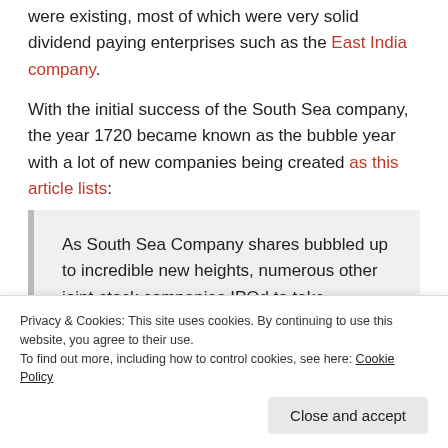were existing, most of which were very solid dividend paying enterprises such as the East India company.
With the initial success of the South Sea company, the year 1720 became known as the bubble year with a lot of new companies being created as this article lists:
As South Sea Company shares bubbled up to incredible new heights, numerous other joint-stock companies IPOd to take advantage of the booming investor demand for speculative investments. Many of these new companies...
Privacy & Cookies: This site uses cookies. By continuing to use this website, you agree to their use.
To find out more, including how to control cookies, see here: Cookie Policy